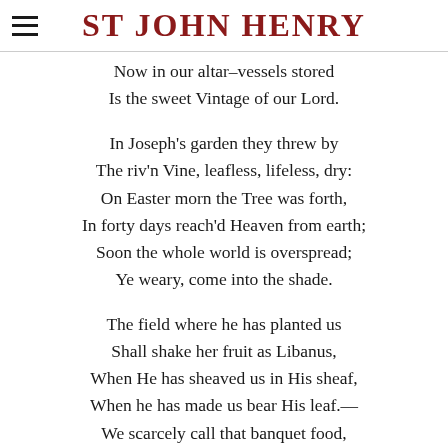ST JOHN HENRY
Now in our altar-vessels stored
Is the sweet Vintage of our Lord.

In Joseph's garden they threw by
The riv'n Vine, leafless, lifeless, dry:
On Easter morn the Tree was forth,
In forty days reach'd Heaven from earth;
Soon the whole world is overspread;
Ye weary, come into the shade.

The field where he has planted us
Shall shake her fruit as Libanus,
When He has sheaved us in His sheaf,
When he has made us bear His leaf.--
We scarcely call that banquet food,